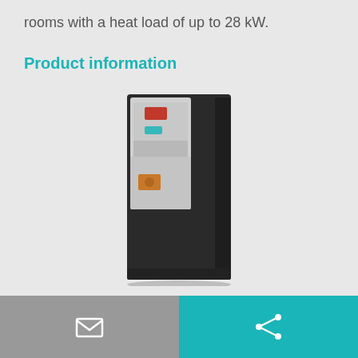rooms with a heat load of up to 28 kW.
Product information
[Figure (photo): A tall, slim industrial heating unit or heat pump device with a dark grey/black body and a light grey front panel. The front panel features a red indicator element at the top, a small blue LED display, and a connector/port in the lower section.]